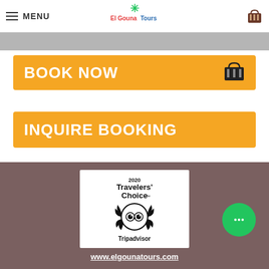MENU | El Gouna Tours
BOOK NOW
INQUIRE BOOKING
[Figure (logo): 2020 Travelers Choice Tripadvisor badge with owl logo and laurel wreath]
www.elgounatours.com
+201224789162